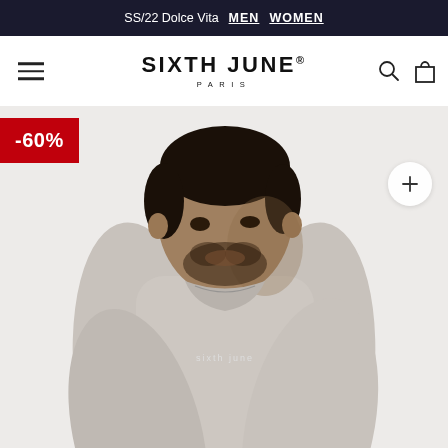SS/22 Dolce Vita  MEN  WOMEN
SIXTH JUNE® PARIS
-60%
[Figure (photo): Male model wearing a light grey/beige slim-fit long-sleeve sweatshirt with 'sixth june' text printed on the chest, looking downward, against a white/light grey background.]